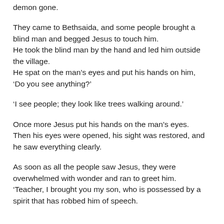demon gone.
They came to Bethsaida, and some people brought a blind man and begged Jesus to touch him.
He took the blind man by the hand and led him outside the village.
He spat on the man’s eyes and put his hands on him,
‘Do you see anything?’
‘I see people; they look like trees walking around.’
Once more Jesus put his hands on the man’s eyes.
Then his eyes were opened, his sight was restored, and he saw everything clearly.
As soon as all the people saw Jesus, they were overwhelmed with wonder and ran to greet him.
‘Teacher, I brought you my son, who is possessed by a spirit that has robbed him of speech.